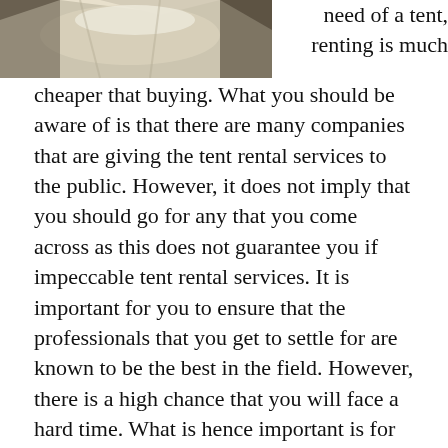[Figure (photo): A photo of a tent or cloth/fabric draped over a surface, in muted tones.]
need of a tent, renting is much cheaper that buying. What you should be aware of is that there are many companies that are giving the tent rental services to the public. However, it does not imply that you should go for any that you come across as this does not guarantee you if impeccable tent rental services. It is important for you to ensure that the professionals that you get to settle for are known to be the best in the field. However, there is a high chance that you will face a hard time. What is hence important is for you to do an analysis of the different companies in the industry. This is important as it will let you understand the different qualities that they have. It will hence enable you to choose that which will guarantee you of impeccable tent rental services. For those who have been looking for faithful